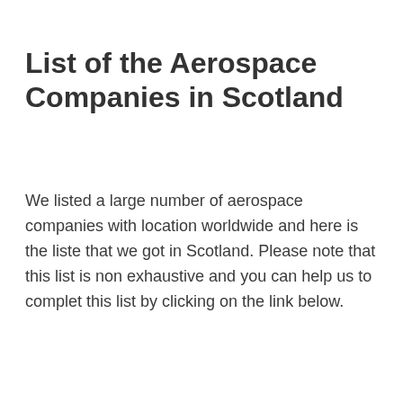List of the Aerospace Companies in Scotland
We listed a large number of aerospace companies with location worldwide and here is the liste that we got in Scotland. Please note that this list is non exhaustive and you can help us to complet this list by clicking on the link below.